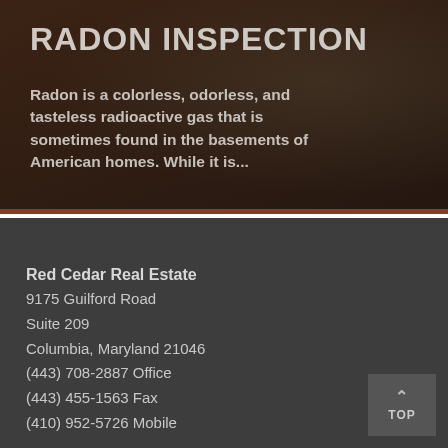[Figure (photo): Dark overlay on a background photo showing a radon test kit device being held, with large white bold text 'RADON INSPECTION' and descriptive paragraph text below it.]
RADON INSPECTION
Radon is a colorless, odorless, and tasteless radioactive gas that is sometimes found in the basements of American homes. While it is...
Red Cedar Real Estate
9175 Guilford Road
Suite 209
Columbia, Maryland 21046
(443) 708-2887 Office
(443) 455-1563 Fax
(410) 952-5726 Mobile